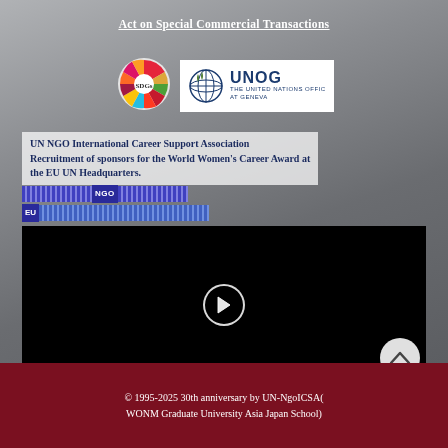Act on Special Commercial Transactions
[Figure (logo): SDG colorful wheel logo (UN Sustainable Development Goals)]
[Figure (logo): UNOG - The United Nations Office at Geneva logo with globe icon]
UN NGO International Career Support Association Recruitment of sponsors for the World Women's Career Award at the EU UN Headquarters.
[Figure (other): NGO striped tag bar label]
[Figure (other): EU striped tag bar label]
[Figure (screenshot): Black video player with play button in center]
© 1995-2025 30th anniversary by UN-NgoICSA (WONM Graduate University Asia Japan School)